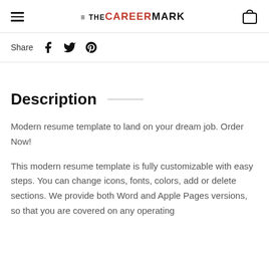THE CAREERMARK
Share
Description
Modern resume template to land on your dream job. Order Now!
This modern resume template is fully customizable with easy steps. You can change icons, fonts, colors, add or delete sections. We provide both Word and Apple Pages versions, so that you are covered on any operating